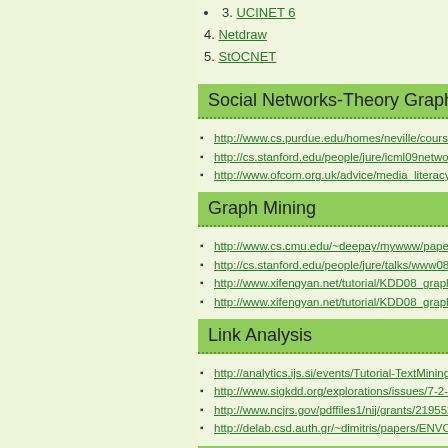3. UCINET 6
4. Netdraw
5. StOCNET
Social Networks-Theory Graph Th…
http://www.cs.purdue.edu/homes/neville/course…
http://cs.stanford.edu/people/jure/icml09netwo…
http://www.ofcom.org.uk/advice/media_literacy…
Graph Mining
http://www.cs.cmu.edu/~deepay/mywww/pape…
http://cs.stanford.edu/people/jure/talks/www08…
http://www.xifengyan.net/tutorial/KDD08_graph…
http://www.xifengyan.net/tutorial/KDD08_graph…
Link Analysis
http://analytics.ijs.si/events/Tutorial-TextMining…
http://www.sigkdd.org/explorations/issues/7-2-…
http://www.ncjrs.gov/pdffiles1/nij/grants/219552…
http://delab.csd.auth.gr/~dimitris/papers/ENVO…
Learning to Rank